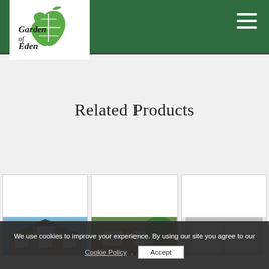[Figure (logo): Garden of Eden logo with apple and leaf motif, green and dark text]
Related Products
[Figure (photo): Product card 1: house with large windows, blue sky]
[Figure (photo): Product card 2: brick house with windows, garden]
[Figure (photo): Product card 3: white window frame product]
We use cookies to improve your experience. By using our site you agree to our Cookie Policy.